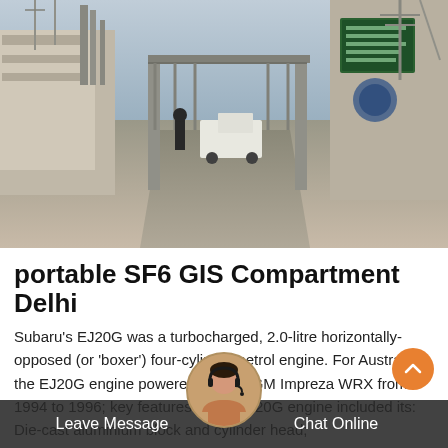[Figure (photo): Outdoor photograph of an industrial or utility facility gate entrance. A white van and a person are visible near the gate. Large buildings and electrical infrastructure are visible in the background. Concrete walls and a green sign board on the right side.]
portable SF6 GIS Compartment Delhi
Subaru's EJ20G was a turbocharged, 2.0-litre horizontally-opposed (or 'boxer') four-cylinder petrol engine. For Australia, the EJ20G engine powered the GC/GM Impreza WRX from 1994 to 1996; key features of the EJ20G engine included its: Die-cast aluminium block and cylinder head;